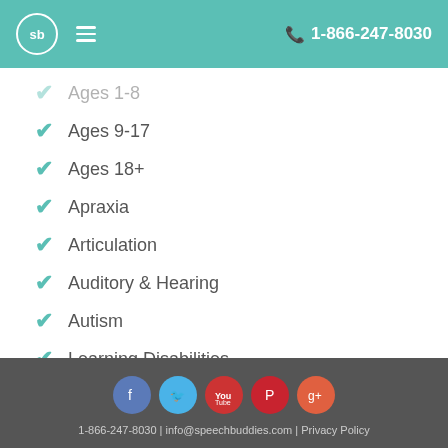sb  1-866-247-8030
Ages 1-8 (partially visible)
Ages 9-17
Ages 18+
Apraxia
Articulation
Auditory & Hearing
Autism
Learning Disabilities
1-866-247-8030 | info@speechbuddies.com | Privacy Policy